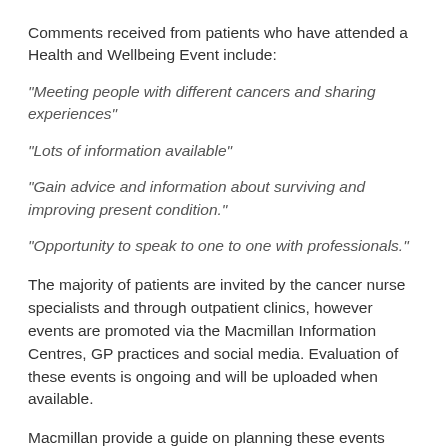Comments received from patients who have attended a Health and Wellbeing Event include:
“Meeting people with different cancers and sharing experiences”
“Lots of information available”
“Gain advice and information about surviving and improving present condition.”
“Opportunity to speak to one to one with professionals.”
The majority of patients are invited by the cancer nurse specialists and through outpatient clinics, however events are promoted via the Macmillan Information Centres, GP practices and social media. Evaluation of these events is ongoing and will be uploaded when available.
Macmillan provide a guide on planning these events which